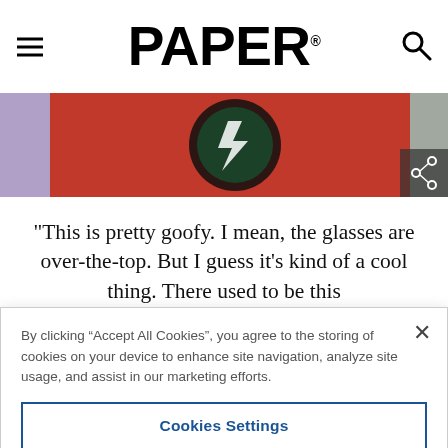PAPER
[Figure (photo): Partial photo showing colorful clothing, red and dark circular graphic, cropped at top of page]
"This is pretty goofy. I mean, the glasses are over-the-top. But I guess it's kind of a cool thing. There used to be this
By clicking “Accept All Cookies”, you agree to the storing of cookies on your device to enhance site navigation, analyze site usage, and assist in our marketing efforts.
Cookies Settings
Reject All
Accept All Cookies